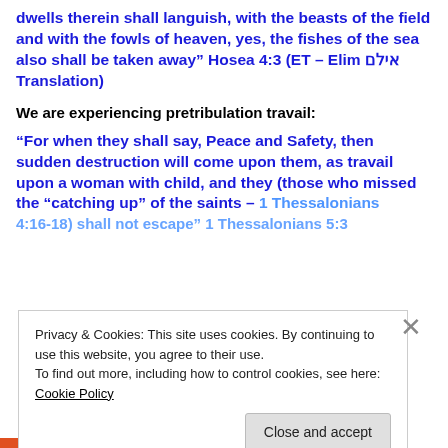dwells therein shall languish, with the beasts of the field and with the fowls of heaven, yes, the fishes of the sea also shall be taken away” Hosea 4:3 (ET – Elim אילם Translation)
We are experiencing pretribulation travail:
“For when they shall say, Peace and Safety, then sudden destruction will come upon them, as travail upon a woman with child, and they (those who missed the “catching up” of the saints – 1 Thessalonians 4:16-18) shall not escape” 1 Thessalonians 5:3
Privacy & Cookies: This site uses cookies. By continuing to use this website, you agree to their use. To find out more, including how to control cookies, see here: Cookie Policy